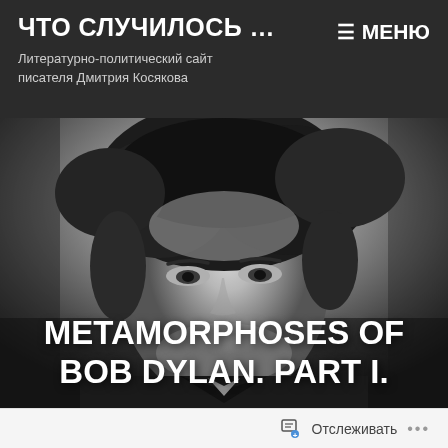ЧТО СЛУЧИЛОСЬ … Литературно-политический сайт писателя Дмитрия Косякова
[Figure (photo): Black and white portrait photograph of Bob Dylan with curly hair, wearing a dark jacket, looking at the camera]
METAMORPHOSES OF BOB DYLAN. PART I.
Отслеживать ...